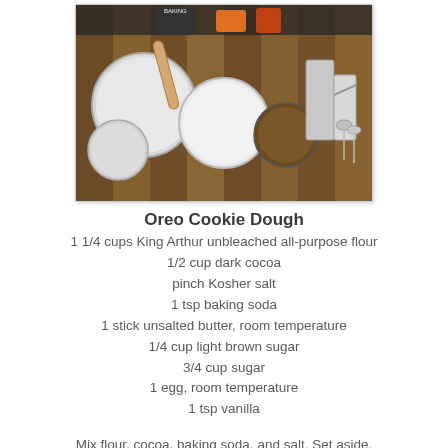[Figure (photo): Overhead photo of baking equipment including measuring cups, mixing bowls of various sizes, and measuring spoons arranged on a wooden cutting board surface, with various baking ingredients in the background.]
Oreo Cookie Dough
1 1/4 cups King Arthur unbleached all-purpose flour
1/2 cup dark cocoa
pinch Kosher salt
1 tsp baking soda
1 stick unsalted butter, room temperature
1/4 cup light brown sugar
3/4 cup sugar
1 egg, room temperature
1 tsp vanilla
Mix flour, cocoa, baking soda, and salt. Set aside. Using a mixer with a paddle attachment, beat butter until creamy, scraping down sides as necessary. Beat in sugar and brown sugar until well-combined.